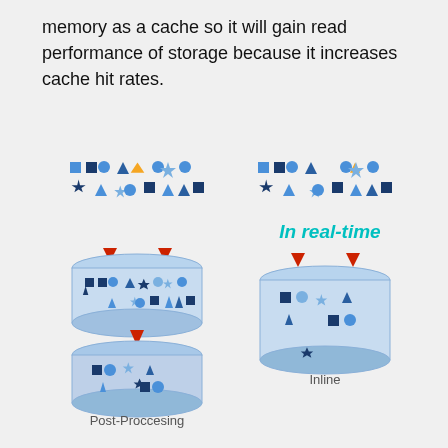memory as a cache so it will gain read performance of storage because it increases cache hit rates.
[Figure (infographic): Diagram comparing Post-Processing and Inline deduplication. Left side shows Post-Processing: data (represented by colored shapes) flows via arrows into a two-layer storage cylinder, with a downward arrow between layers. Right side shows Inline: data flows 'In real-time' via arrows into a single-layer storage cylinder. Both sides show source data as rows of colored geometric shapes (squares, circles, triangles, stars) at the top.]
Post-Proccesing
Inline